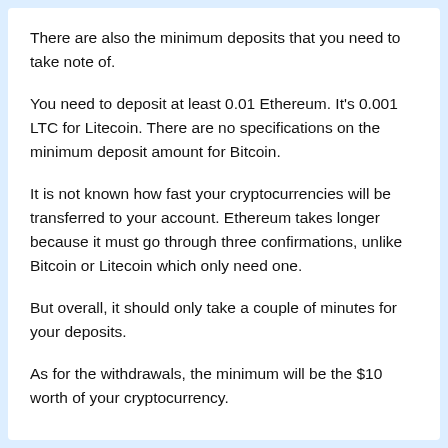There are also the minimum deposits that you need to take note of.
You need to deposit at least 0.01 Ethereum. It's 0.001 LTC for Litecoin. There are no specifications on the minimum deposit amount for Bitcoin.
It is not known how fast your cryptocurrencies will be transferred to your account. Ethereum takes longer because it must go through three confirmations, unlike Bitcoin or Litecoin which only need one.
But overall, it should only take a couple of minutes for your deposits.
As for the withdrawals, the minimum will be the $10 worth of your cryptocurrency.